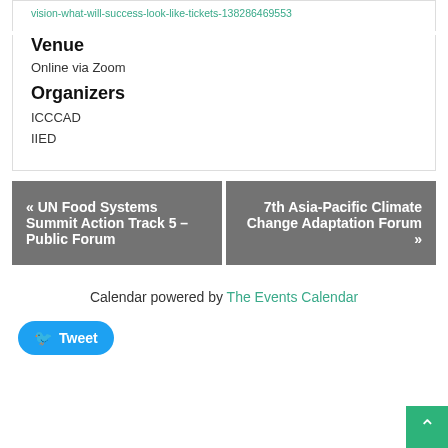vision-what-will-success-look-like-tickets-138286469553
Venue
Online via Zoom
Organizers
ICCCAD
IIED
« UN Food Systems Summit Action Track 5 – Public Forum
7th Asia-Pacific Climate Change Adaptation Forum »
Calendar powered by The Events Calendar
Tweet